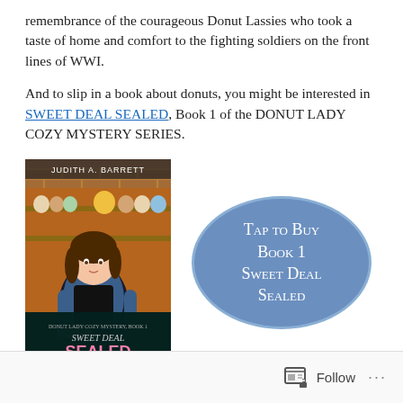remembrance of the courageous Donut Lassies who took a taste of home and comfort to the fighting soldiers on the front lines of WWI.
And to slip in a book about donuts, you might be interested in SWEET DEAL SEALED, Book 1 of the DONUT LADY COZY MYSTERY SERIES.
[Figure (illustration): Book cover for 'Sweet Deal Sealed' by Judith A. Barrett, showing a cartoon woman in an apron holding a donut in a donut shop setting. Pink and dark teal color scheme.]
[Figure (infographic): Blue oval button that reads 'Tap to Buy Book 1 Sweet Deal Sealed' in white small-caps text.]
Follow ...